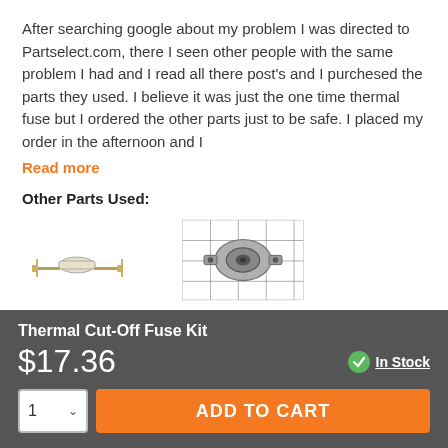After searching google about my problem I was directed to Partselect.com, there I seen other people with the same problem I had and I read all there post's and I purchesed the parts they used. I believe it was just the one time thermal fuse but I ordered the other parts just to be safe. I placed my order in the afternoon and I
Read more
Other Parts Used:
[Figure (photo): Dryer Thermal Fuse part image - small white/gold component]
Dryer Thermal Fuse
[Figure (photo): Dryer Cycling Thermostat part image - round disc component on grid background]
Dryer Cycling Thermostat
Thermal Cut-Off Fuse Kit
$17.36
In Stock
ADD TO CART